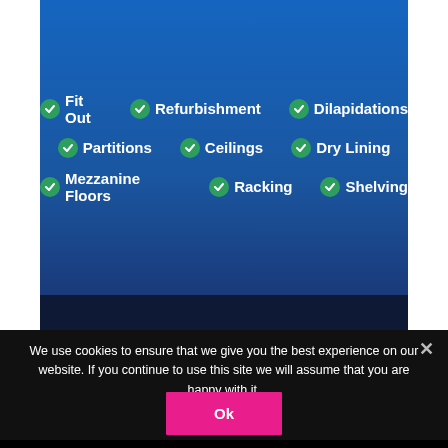✔ Fit Out  ✔ Refurbishment  ✔ Dilapidations
✔ Partitions  ✔ Ceilings  ✔ Dry Lining
✔ Mezzanine Floors  ✔ Racking  ✔ Shelving
Family owned & operated
www.aventinteriors.co.uk
hello@aventinteriors.co.uk
Bristol 0117 9960 950
Cheltenham 01242 316 995
Swindon 01793 211 995
[Figure (infographic): Social share buttons: Facebook, Twitter, LinkedIn, Email, More (+)]
We use cookies to ensure that we give you the best experience on our website. If you continue to use this site we will assume that you are happy with it.
Ok